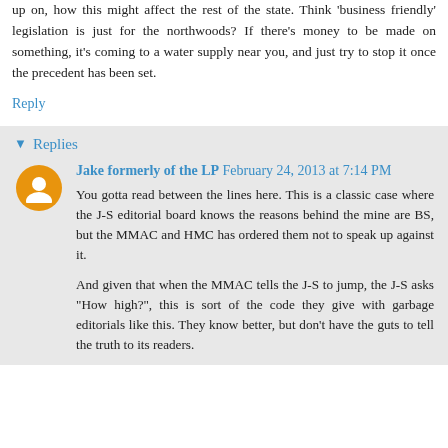up on, how this might affect the rest of the state. Think 'business friendly' legislation is just for the northwoods? If there's money to be made on something, it's coming to a water supply near you, and just try to stop it once the precedent has been set.
Reply
Replies
Jake formerly of the LP  February 24, 2013 at 7:14 PM
You gotta read between the lines here. This is a classic case where the J-S editorial board knows the reasons behind the mine are BS, but the MMAC and HMC has ordered them not to speak up against it.
And given that when the MMAC tells the J-S to jump, the J-S asks "How high?", this is sort of the code they give with garbage editorials like this. They know better, but don't have the guts to tell the truth to its readers.